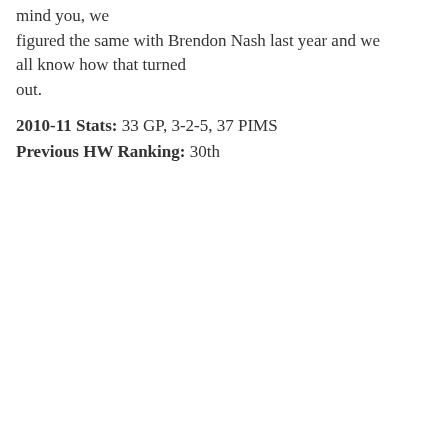mind you, we figured the same with Brendon Nash last year and we all know how that turned out.
2010-11 Stats: 33 GP, 3-2-5, 37 PIMS
Previous HW Ranking: 30th